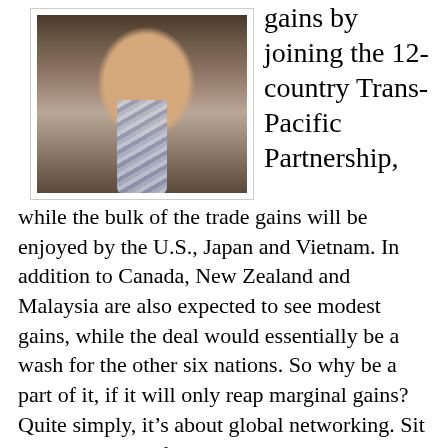[Figure (photo): Photo of a man in a brown jacket and striped blue/white tie, upper body portrait]
gains by joining the 12-country Trans-Pacific Partnership, while the bulk of the trade gains will be enjoyed by the U.S., Japan and Vietnam. In addition to Canada, New Zealand and Malaysia are also expected to see modest gains, while the deal would essentially be a wash for the other six nations. So why be a part of it, if it will only reap marginal gains? Quite simply, it’s about global networking. Sit on the sidelines for this one and we may not be invited to the next one. Sure it’s not likely going to be a huge money-maker, but as long as we’re in the black and not the red, it makes sense to be a part of it.